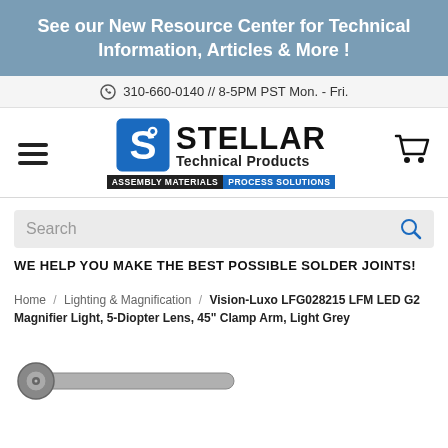See our New Resource Center for Technical Information, Articles & More !
310-660-0140 // 8-5PM PST Mon. - Fri.
[Figure (logo): Stellar Technical Products logo with blue S icon, bold STELLAR text, Technical Products subtitle, and tagline bar: ASSEMBLY MATERIALS | PROCESS SOLUTIONS]
Search
WE HELP YOU MAKE THE BEST POSSIBLE SOLDER JOINTS!
Home / Lighting & Magnification / Vision-Luxo LFG028215 LFM LED G2 Magnifier Light, 5-Diopter Lens, 45" Clamp Arm, Light Grey
[Figure (photo): Partial view of a magnifier light arm in light grey color, showing the articulated mechanical arm]